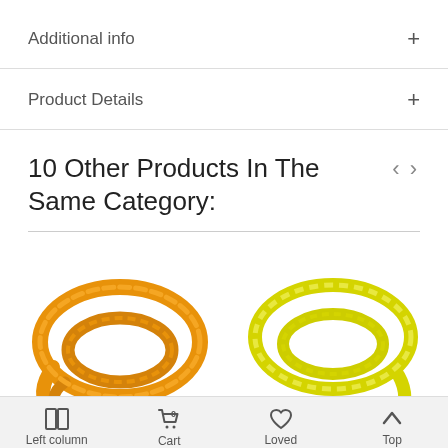Additional info
Product Details
10 Other Products In The Same Category:
[Figure (photo): Orange/amber colored bead necklace strands coiled on white background]
[Figure (photo): Yellow bead necklace strands coiled on white background]
Left column  Cart  Loved  Top